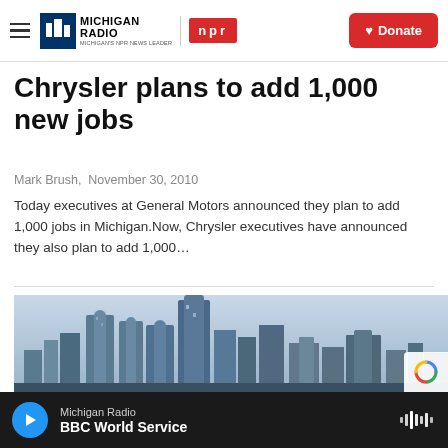Michigan Radio | NPR | Donate
Chrysler plans to add 1,000 new jobs
Mark Brush,  November 30, 2010
Today executives at General Motors announced they plan to add 1,000 jobs in Michigan.Now, Chrysler executives have announced they also plan to add 1,000…
[Figure (photo): Skyline photo of city buildings (Detroit Renaissance Center area) against a light blue sky]
Michigan Radio — BBC World Service (audio player bar)